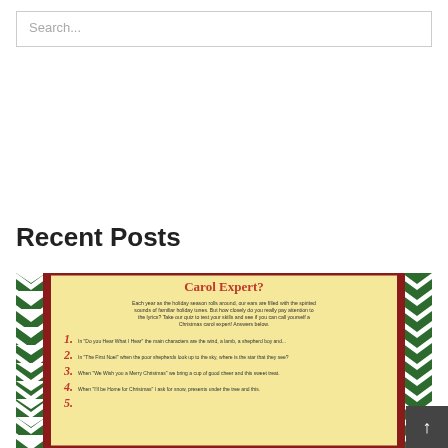Search...
Recent Posts
[Figure (illustration): A Christmas carol quiz card with green and red chevron border, yellow background, red title text 'Carol Expert?', introductory text about holiday season lyrics, and numbered quiz questions about Christmas carols.]